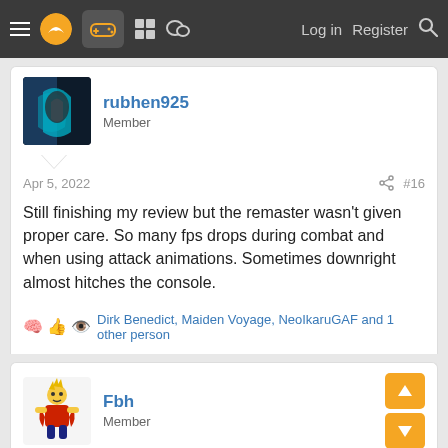Navigation bar with menu, logo, gamepad icon, grid icon, chat icon, Log in, Register, Search
rubhen925
Member
Apr 5, 2022   #16
Still finishing my review but the remaster wasn't given proper care. So many fps drops during combat and when using attack animations. Sometimes downright almost hitches the console.
Dirk Benedict, Maiden Voyage, NeoIkaruGAF and 1 other person
Fbh
Member
Apr 5, 2022   #17